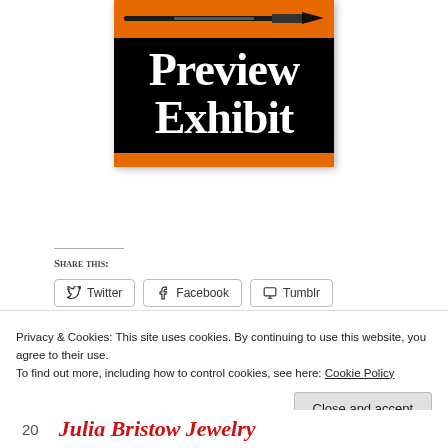[Figure (illustration): Preview Exhibit banner image with orange background, a paintbrush graphic at top, and bold white serif text 'Preview Exhibit' on black background]
Share this:
Twitter | Facebook | Tumblr
Privacy & Cookies: This site uses cookies. By continuing to use this website, you agree to their use.
To find out more, including how to control cookies, see here: Cookie Policy
Close and accept
20  Julia Bristow Jewelry